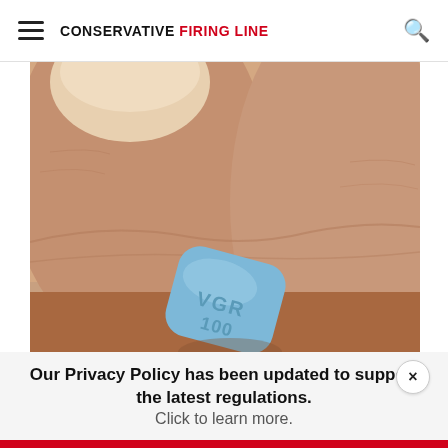CONSERVATIVE FIRING LINE
[Figure (photo): Close-up photograph of fingers holding a small blue diamond-shaped pill (Viagra/VGR 100) between two fingers, skin texture visible in detail.]
Our Privacy Policy has been updated to support the latest regulations. Click to learn more.